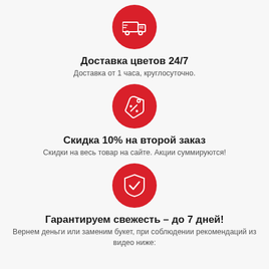[Figure (illustration): Red circle with white delivery truck icon]
Доставка цветов 24/7
Доставка от 1 часа, круглосуточно.
[Figure (illustration): Red circle with white price tag / discount icon]
Скидка 10% на второй заказ
Скидки на весь товар на сайте. Акции суммируются!
[Figure (illustration): Red circle with white shield and checkmark icon]
Гарантируем свежесть – до 7 дней!
Вернем деньги или заменим букет, при соблюдении рекомендаций из видео ниже: